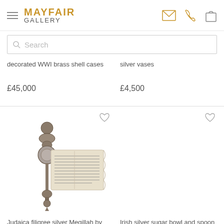MAYFAIR GALLERY
Search
decorated WWI brass shell cases
silver vases
£45,000
£4,500
[Figure (photo): Judaica filigree silver Megillah scroll with ornate silver case by Bezalel]
[Figure (photo): Irish silver sugar bowl and spoon by West & Son — no image visible]
Judaica filigree silver Megillah by Bezalel
Irish silver sugar bowl and spoon by West & Son